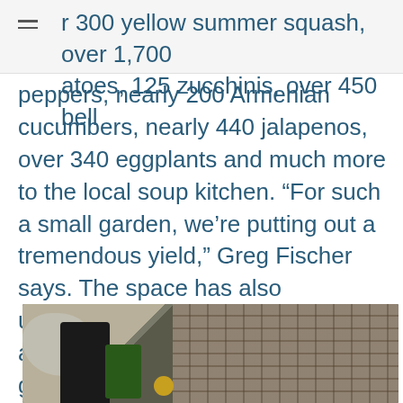r 300 yellow summer squash, over 1,700 atoes, 125 zucchinis, over 450 bell
peppers, nearly 200 Armenian cucumbers, nearly 440 jalapenos, over 340 eggplants and much more to the local soup kitchen. “For such a small garden, we’re putting out a tremendous yield,” Greg Fischer says. The space has also undergone a major facelift, with the addition of 100 tons of decomposed granite along pathways, upgraded gazeboes and new furniture.
[Figure (photo): A photo showing what appears to be a dark-colored figure or person near a wicker basket or furniture, with a rock or stone visible on the left and some green vegetable and yellow round object visible.]